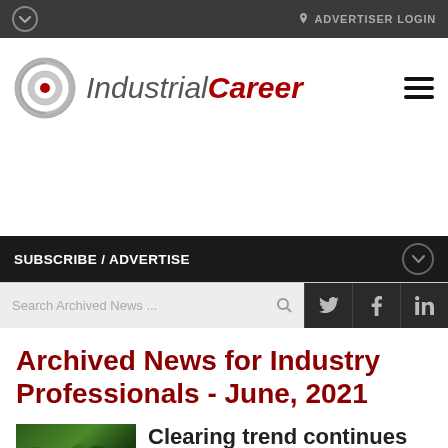ADVERTISER LOGIN
[Figure (logo): IndustrialCareer logo with bullseye/target icon and text 'IndustrialCareer']
SUBSCRIBE / ADVERTISE
Search Archived News ...
Archived News for Industry Professionals - June, 2021
Clearing trend continues